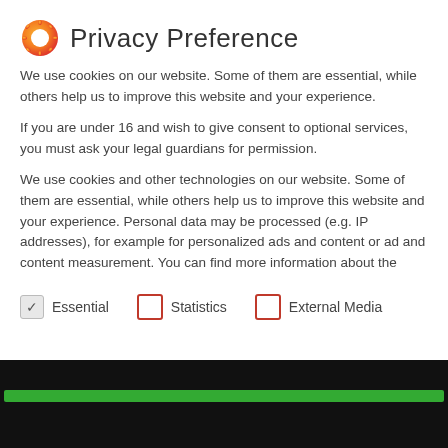Privacy Preference
We use cookies on our website. Some of them are essential, while others help us to improve this website and your experience.
If you are under 16 and wish to give consent to optional services, you must ask your legal guardians for permission.
We use cookies and other technologies on our website. Some of them are essential, while others help us to improve this website and your experience. Personal data may be processed (e.g. IP addresses), for example for personalized ads and content or ad and content measurement. You can find more information about the
Essential
Statistics
External Media